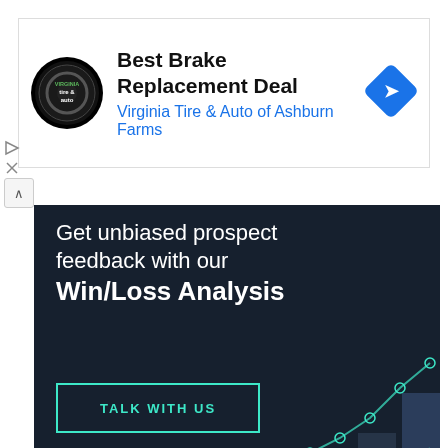[Figure (screenshot): Ad for Virginia Tire & Auto of Ashburn Farms showing circular logo with tire and auto text, 'Best Brake Replacement Deal' heading and blue navigation arrow icon]
Best Brake Replacement Deal
Virginia Tire & Auto of Ashburn Farms
[Figure (screenshot): Dark navy banner ad for Clozd showing text 'Get unbiased prospect feedback with our Win/Loss Analysis' with a TALK WITH US button and decorative line chart and bar chart graphics in background]
Increase Win Rates Up to 50%
Ad Clozd